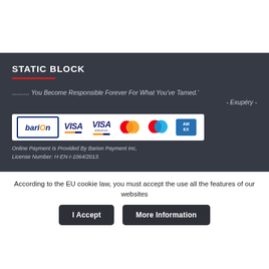STATIC BLOCK
.......... You Become Responsible Forever For What You've Tamed.'
- Exupéry -
[Figure (logo): Payment logos: barion, VISA, VISA Electron, Mastercard, Maestro, American Express]
Online Payment Is Provided By Barion Payment Inc,
License Number: H-EN-I-1064/2013.
According to the EU cookie law, you must accept the use all the features of our websites
I Accept
More Information